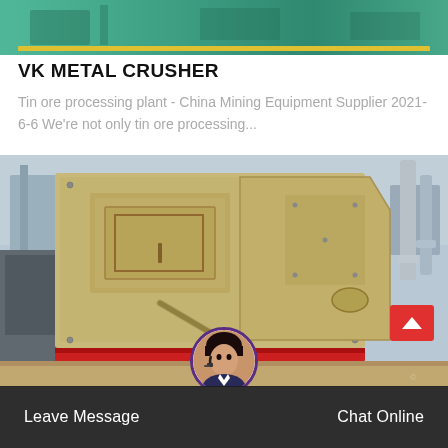[Figure (photo): Top banner image showing industrial equipment with teal/green background and yellow stripe at bottom]
VK METAL CRUSHER
Tin ore processing plant - China Mining Equipment Supplier 2021-6-6 We're not only tin ore processing...
[Figure (photo): Large beige/tan industrial metal crusher machine with pipes, panels and bolts, photographed outdoors against a sky background]
Leave Message
Chat Online